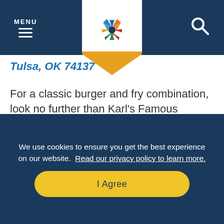MENU navigation bar with hamburger icon, logo, and search icon
Tulsa, OK 74137
For a classic burger and fry combination, look no further than Karl's Famous Burgers in Tulsa. The simple construction of a...
MEHR LESEN >
[Figure (photo): Photo of a pizza with olives and toppings on a wooden board with a dark red background]
We use cookies to ensure you get the best experience on our website. Read our privacy policy to learn more.
I Agree